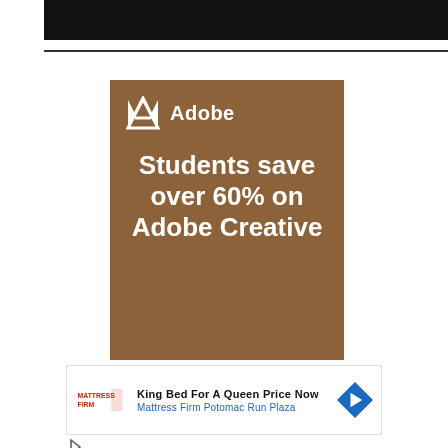[Figure (screenshot): Black navigation bar at top of webpage]
[Figure (illustration): Adobe advertisement banner with brown background. Shows Adobe logo (A symbol + Adobe wordmark) and text: Students save over 60% on Adobe Creative]
[Figure (illustration): Mattress Firm advertisement showing logo, headline 'King Bed For A Queen Price Now', subtext 'Mattress Firm Potomac Run Plaza', and navigation arrow icon]